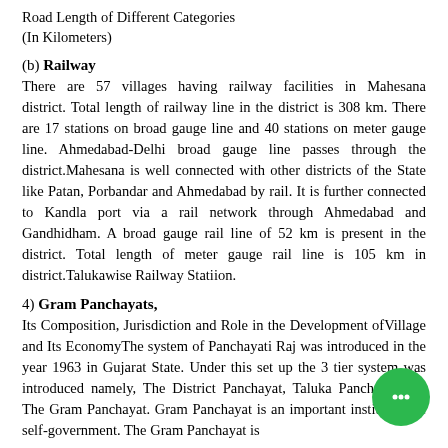Road Length of Different Categories
(In Kilometers)
(b) Railway
There are 57 villages having railway facilities in Mahesana district. Total length of railway line in the district is 308 km. There are 17 stations on broad gauge line and 40 stations on meter gauge line. Ahmedabad-Delhi broad gauge line passes through the district.Mahesana is well connected with other districts of the State like Patan, Porbandar and Ahmedabad by rail. It is further connected to Kandla port via a rail network through Ahmedabad and Gandhidham. A broad gauge rail line of 52 km is present in the district. Total length of meter gauge rail line is 105 km in district.Talukawise Railway Statiion.
4) Gram Panchayats,
Its Composition, Jurisdiction and Role in the Development ofVillage and Its EconomyThe system of Panchayati Raj was introduced in the year 1963 in Gujarat State. Under this set up the 3 tier system was introduced namely, The District Panchayat, Taluka Panchayat and The Gram Panchayat. Gram Panchayat is an important institution of self-government. The Gram Panchayat is